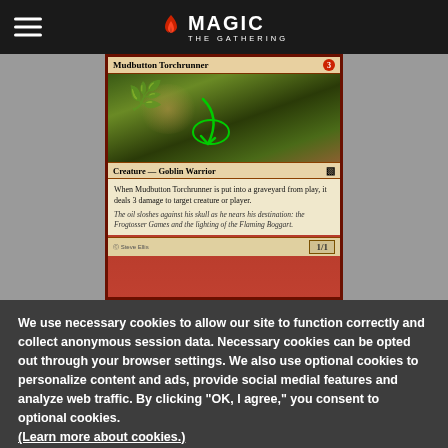Magic: The Gathering
[Figure (photo): Magic: The Gathering card - Mudbutton Torchrunner, Creature - Goblin Warrior 1/1. Card shows goblin artwork with green annotation arrow. Text: 'When Mudbutton Torchrunner is put into a graveyard from play, it deals 3 damage to target creature or player.' Flavor text: 'The oil sloshes against his skull as he nears his destination: the Frogtosser Games and the lighting of the Flaming Boggart.']
We use necessary cookies to allow our site to function correctly and collect anonymous session data. Necessary cookies can be opted out through your browser settings. We also use optional cookies to personalize content and ads, provide social medial features and analyze web traffic. By clicking “OK, I agree,” you consent to optional cookies. (Learn more about cookies.)
OK, I agree
No, thanks